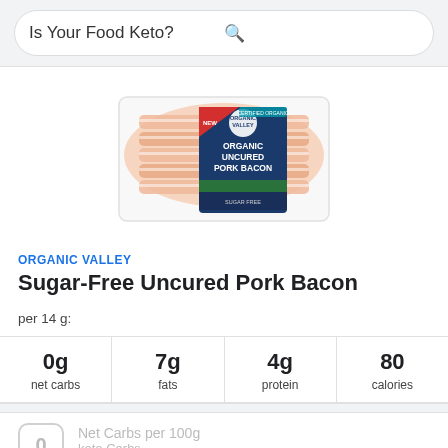Is Your Food Keto?
[Figure (photo): Package of Organic Valley Organic Uncured Pork Bacon showing sliced bacon strips]
ORGANIC VALLEY
Sugar-Free Uncured Pork Bacon
per 14 g:
| net carbs | fats | protein | calories |
| --- | --- | --- | --- |
| 0g | 7g | 4g | 80 |
Net Carbs per 100g
0